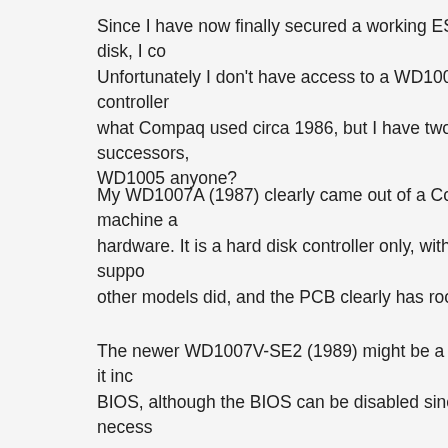Since I have now finally secured a working ESDI hard disk, I co… Unfortunately I don't have access to a WD1005 ESDI controller… what Compaq used circa 1986, but I have two of its successors,… WD1005 anyone?
My WD1007A (1987) clearly came out of a Compaq machine a… hardware. It is a hard disk controller only, with no floppy suppo… other models did, and the PCB clearly has room for it).
The newer WD1007V-SE2 (1989) might be a retail model; it inc… BIOS, although the BIOS can be disabled since it wasn't necess…